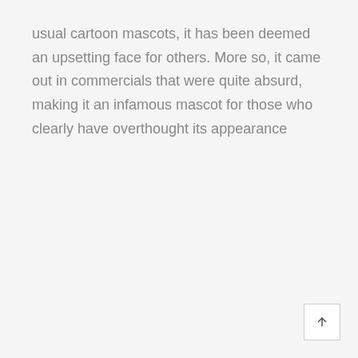usual cartoon mascots, it has been deemed an upsetting face for others. More so, it came out in commercials that were quite absurd, making it an infamous mascot for those who clearly have overthought its appearance